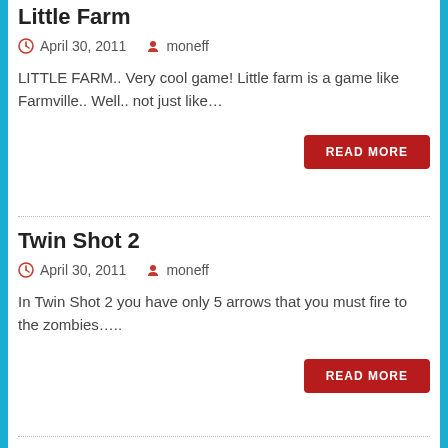Little Farm
April 30, 2011   moneff
LITTLE FARM.. Very cool game! Little farm is a game like Farmville.. Well.. not just like…
READ MORE
Twin Shot 2
April 30, 2011   moneff
In Twin Shot 2 you have only 5 arrows that you must fire to the zombies…..
READ MORE